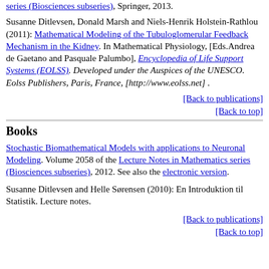series (Biosciences subseries), Springer, 2013.
Susanne Ditlevsen, Donald Marsh and Niels-Henrik Holstein-Rathlou (2011): Mathematical Modeling of the Tubuloglomerular Feedback Mechanism in the Kidney. In Mathematical Physiology, [Eds.Andrea de Gaetano and Pasquale Palumbo], Encyclopedia of Life Support Systems (EOLSS). Developed under the Auspices of the UNESCO. Eolss Publishers, Paris, France, [http://www.eolss.net] .
[Back to publications]
[Back to top]
Books
Stochastic Biomathematical Models with applications to Neuronal Modeling. Volume 2058 of the Lecture Notes in Mathematics series (Biosciences subseries), 2012. See also the electronic version.
Susanne Ditlevsen and Helle Sørensen (2010): En Introduktion til Statistik. Lecture notes.
[Back to publications]
[Back to top]